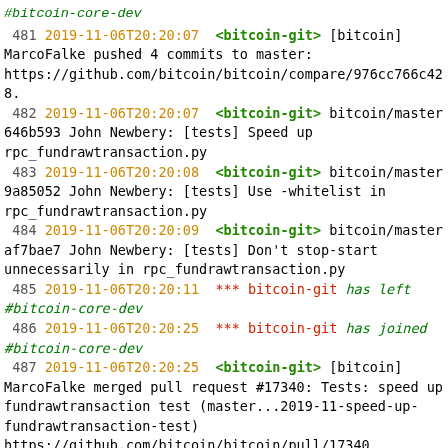#bitcoin-core-dev
481 2019-11-06T20:20:07 <bitcoin-git> [bitcoin] MarcoFalke pushed 4 commits to master: https://github.com/bitcoin/bitcoin/compare/976cc766c428.
482 2019-11-06T20:20:07 <bitcoin-git> bitcoin/master 646b593 John Newbery: [tests] Speed up rpc_fundrawtransaction.py
483 2019-11-06T20:20:08 <bitcoin-git> bitcoin/master 9a85052 John Newbery: [tests] Use -whitelist in rpc_fundrawtransaction.py
484 2019-11-06T20:20:09 <bitcoin-git> bitcoin/master af7bae7 John Newbery: [tests] Don't stop-start unnecessarily in rpc_fundrawtransaction.py
485 2019-11-06T20:20:11 *** bitcoin-git has left #bitcoin-core-dev
486 2019-11-06T20:20:25 *** bitcoin-git has joined #bitcoin-core-dev
487 2019-11-06T20:20:25 <bitcoin-git> [bitcoin] MarcoFalke merged pull request #17340: Tests: speed up fundrawtransaction test (master...2019-11-speed-up-fundrawtransaction-test) https://github.com/bitcoin/bitcoin/pull/17340
488 2019-11-06T20:20:26 *** bitcoin-git has left #bitcoin-core-dev
489 2019-11-06T20:24:12 <wumpus> oh nice, there's a env_windows.cpp in the new upstream leveldb, we might be able to stop maintaining our own env_win https://github.com/bitcoin-core/leveldb/pull/26  this